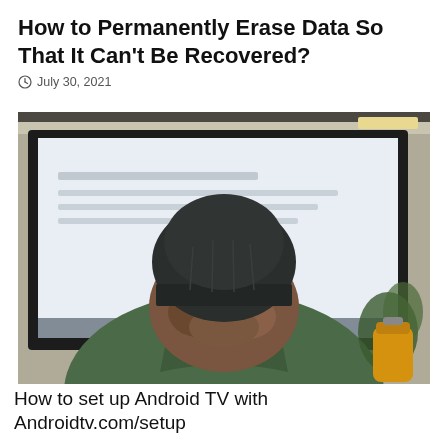How to Permanently Erase Data So That It Can't Be Recovered?
July 30, 2021
[Figure (photo): Person seen from behind wearing a dark green jacket and dark beanie hat, sitting in front of a large computer monitor displaying a light-colored screen, with plants and a yellow water bottle visible in the background.]
How to set up Android TV with Androidtv.com/setup